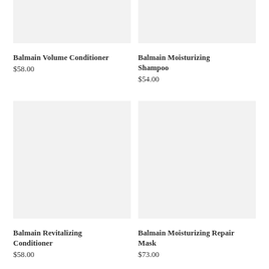[Figure (photo): Product image placeholder for Balmain Volume Conditioner, light gray background]
Balmain Volume Conditioner
$58.00
[Figure (photo): Product image placeholder for Balmain Moisturizing Shampoo, light gray background]
Balmain Moisturizing Shampoo
$54.00
[Figure (photo): Product image placeholder for Balmain Revitalizing Conditioner, light gray background]
Balmain Revitalizing Conditioner
$58.00
[Figure (photo): Product image placeholder for Balmain Moisturizing Repair Mask, light gray background]
Balmain Moisturizing Repair Mask
$73.00